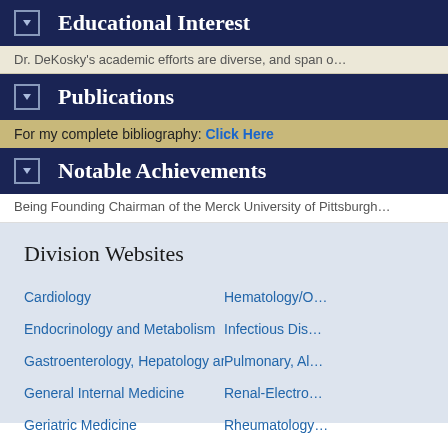Educational Interest
Dr. DeKosky's academic efforts are diverse, and span o...
Publications
For my complete bibliography: Click Here
Notable Achievements
Being Founding Chairman of the Merck University of Pittsburgh...
Division Websites
Cardiology
Hematology/C...
Endocrinology and Metabolism
Infectious Dis...
Gastroenterology, Hepatology and Nutrition
Pulmonary, Al...
General Internal Medicine
Renal-Electro...
Geriatric Medicine
Rheumatology...